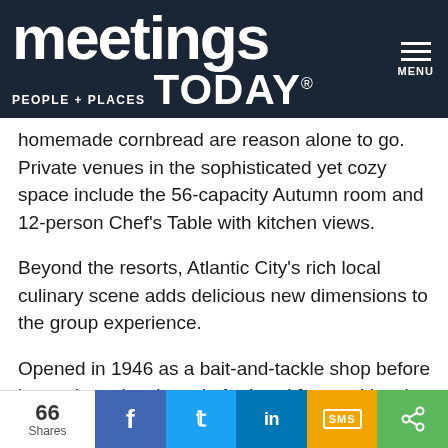[Figure (logo): Meetings Today logo on dark navy background with hamburger menu icon and MENU label]
homemade cornbread are reason alone to go. Private venues in the sophisticated yet cozy space include the 56-capacity Autumn room and 12-person Chef's Table with kitchen views.
Beyond the resorts, Atlantic City's rich local culinary scene adds delicious new dimensions to the group experience.
Opened in 1946 as a bait-and-tackle shop before becoming a local staple for breakfast and lunch, fourth-generation family-run Gilchrist Restaurant is an Atlantic City comfort food institution. Four locations include Gardner's Basin,
[Figure (infographic): Social share bar showing 66 Shares count, with Facebook, Twitter, LinkedIn, SMS, and generic share buttons]